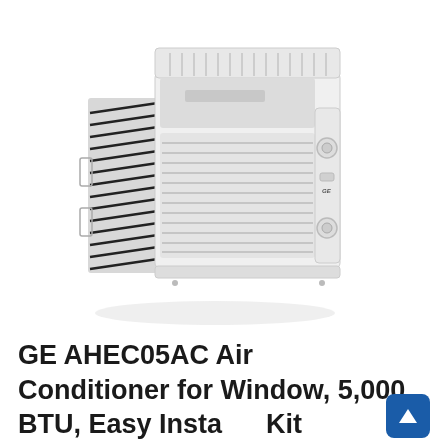[Figure (photo): White GE window air conditioner unit shown in a three-quarter perspective view. The unit is boxy and white with horizontal vents on the front face, a control panel with two dials on the right side, and diagonal louvers on the left side panel.]
GE AHEC05AC Air Conditioner for Window, 5,000 BTU, Easy Insta... Kit Included, Dual Mechanics Fan